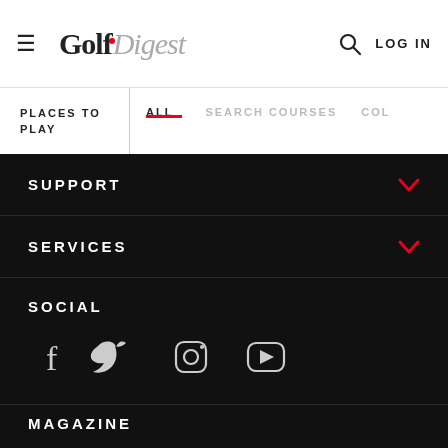Golf Digest — LOG IN
PLACES TO PLAY | ALL | SEARCH COURSES | COL
SUPPORT
SERVICES
SOCIAL
[Figure (other): Social media icons: Facebook, Twitter, Instagram, YouTube]
MAGAZINE
[Figure (other): Golf Digest magazine cover featuring a golfer, text reads Golf Digest, MAX]